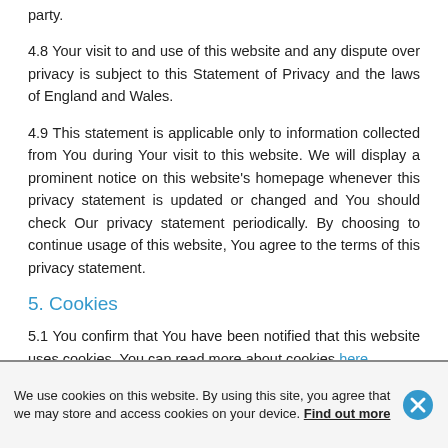party.
4.8 Your visit to and use of this website and any dispute over privacy is subject to this Statement of Privacy and the laws of England and Wales.
4.9 This statement is applicable only to information collected from You during Your visit to this website. We will display a prominent notice on this website's homepage whenever this privacy statement is updated or changed and You should check Our privacy statement periodically. By choosing to continue usage of this website, You agree to the terms of this privacy statement.
5. Cookies
5.1 You confirm that You have been notified that this website uses cookies. You can read more about cookies here.
6. Identity Checks
We use cookies on this website. By using this site, you agree that we may store and access cookies on your device. Find out more